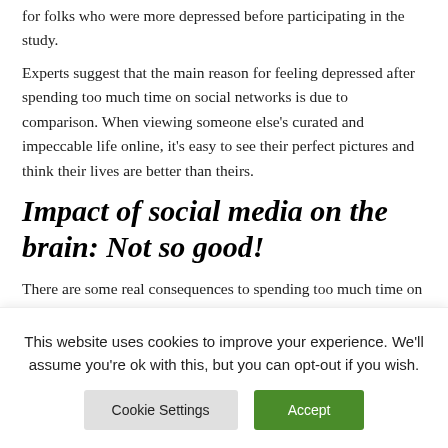for folks who were more depressed before participating in the study.
Experts suggest that the main reason for feeling depressed after spending too much time on social networks is due to comparison. When viewing someone else's curated and impeccable life online, it's easy to see their perfect pictures and think their lives are better than theirs.
Impact of social media on the brain: Not so good!
There are some real consequences to spending too much time on social media. Studies show we are carrying around
This website uses cookies to improve your experience. We'll assume you're ok with this, but you can opt-out if you wish.